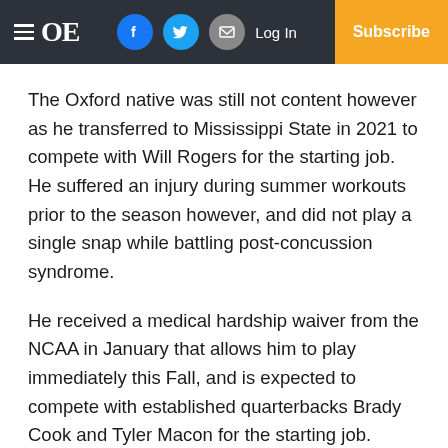OE — Log In — Subscribe
The Oxford native was still not content however as he transferred to Mississippi State in 2021 to compete with Will Rogers for the starting job. He suffered an injury during summer workouts prior to the season however, and did not play a single snap while battling post-concussion syndrome.
He received a medical hardship waiver from the NCAA in January that allows him to play immediately this Fall, and is expected to compete with established quarterbacks Brady Cook and Tyler Macon for the starting job.